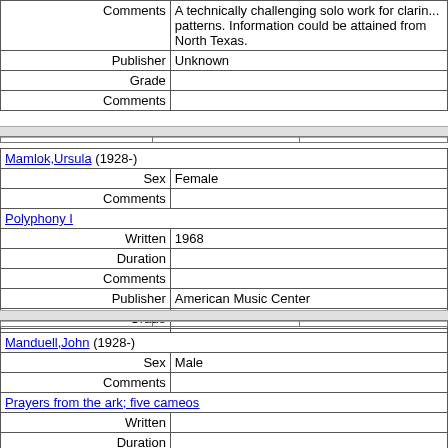| Comments | A technically challenging solo work for clarin... patterns. Information could be attained from North Texas. |
| Publisher | Unknown |
| Grade |  |
| Comments |  |
| Mamlok,Ursula (1928-) |  |
| Sex | Female |
| Comments |  |
| Polyphony I |  |
| Written | 1968 |
| Duration |  |
| Comments |  |
| Publisher | American Music Center |
| Grade |  |
| Comments |  |
| Manduell,John (1928-) |  |
| Sex | Male |
| Comments |  |
| Prayers from the ark; five cameos |  |
| Written |  |
| Duration |  |